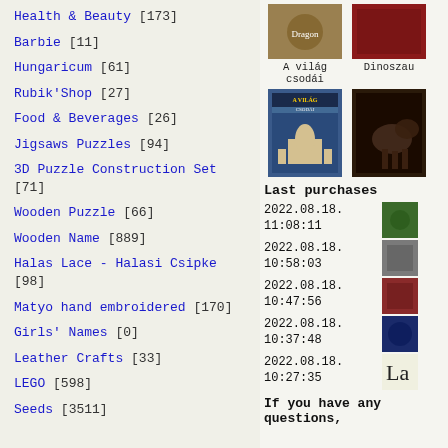Health & Beauty [173]
Barbie [11]
Hungaricum [61]
Rubik'Shop [27]
Food & Beverages [26]
Jigsaws Puzzles [94]
3D Puzzle Construction Set [71]
Wooden Puzzle [66]
Wooden Name [889]
Halas Lace - Halasi Csipke [98]
Matyo hand embroidered [170]
Girls' Names [0]
Leather Crafts [33]
LEGO [598]
Seeds [3511]
[Figure (photo): Book cover thumbnail - partially visible on right side]
A világ csodái
Dinoszau
[Figure (photo): Book cover - A világ csodái (showing Taj Mahal)]
[Figure (photo): Book cover - Dinosaur book (partially visible)]
Last purchases
2022.08.18. 11:08:11
2022.08.18. 10:58:03
2022.08.18. 10:47:56
2022.08.18. 10:37:48
2022.08.18. 10:27:35
If you have any questions,